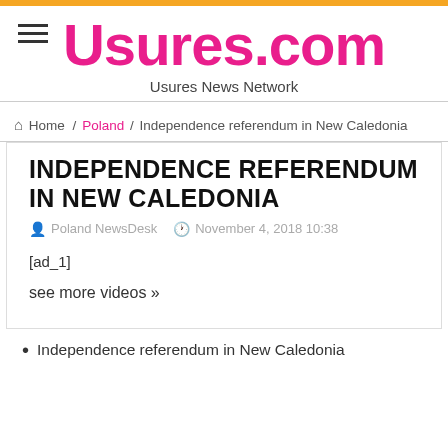Usures.com — Usures News Network
Home / Poland / Independence referendum in New Caledonia
INDEPENDENCE REFERENDUM IN NEW CALEDONIA
Poland NewsDesk   November 4, 2018 10:38
[ad_1]
see more videos »
Independence referendum in New Caledonia